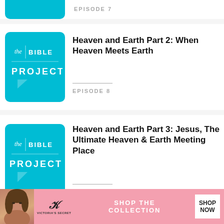[Figure (screenshot): Partial Bible Project logo thumbnail at top (Episode 7 cut off)]
EPISODE 7
[Figure (logo): The Bible Project logo - teal square with speech bubble, Episode 8]
Heaven and Earth Part 2: When Heaven Meets Earth
EPISODE 8
[Figure (logo): The Bible Project logo - teal square with speech bubble, Episode 9]
Heaven and Earth Part 3: Jesus, The Ultimate Heaven & Earth Meeting Place
EPISODE 9
[Figure (logo): The Bible Project logo - teal square with speech bubble, Episode 10 (partial)]
Image of God Part 1: Humans as Middle Managment
[Figure (photo): Victoria's Secret advertisement banner with model, VS logo, SHOP THE COLLECTION text, and SHOP NOW button]